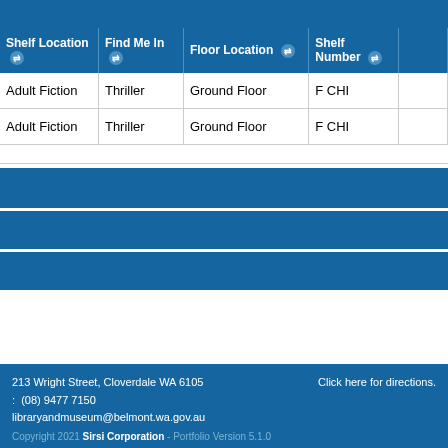| Shelf Location | Find Me In | Floor Location | Shelf Number |
| --- | --- | --- | --- |
| Adult Fiction | Thriller | Ground Floor | F CHI |
| Adult Fiction | Thriller | Ground Floor | F CHI |
213 Wright Street, Cloverdale WA 6105   Click here for directions.
: (08) 9477 7150
libraryandmuseum@belmont.wa.gov.au
Copyright 2021 Sirsi Corporation - Portfolio Version 5.1.0